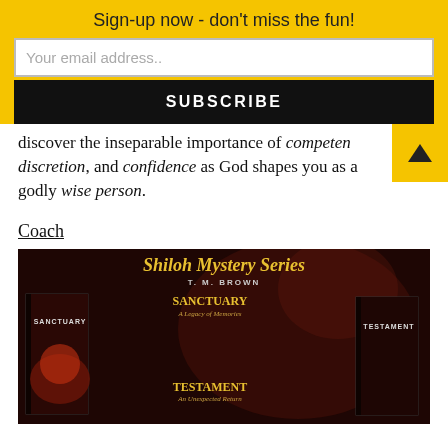Sign-up now - don't miss the fun!
Your email address..
SUBSCRIBE
discover the inseparable importance of competence, discretion, and confidence as God shapes you as a godly wise person.
Coach
[Figure (illustration): Shiloh Mystery Series book advertisement showing two books titled Sanctuary and Testament by T. M. Brown on a dark red/maroon background. Includes descriptions of both books.]